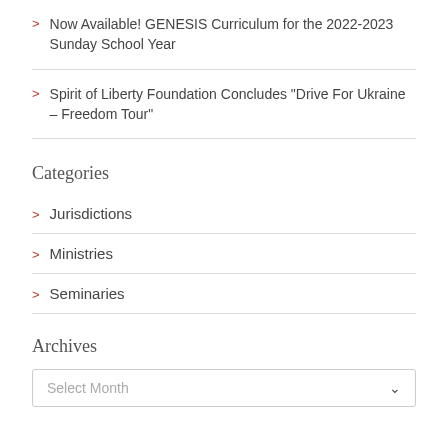Now Available! GENESIS Curriculum for the 2022-2023 Sunday School Year
Spirit of Liberty Foundation Concludes "Drive For Ukraine – Freedom Tour"
Categories
Jurisdictions
Ministries
Seminaries
Archives
Select Month